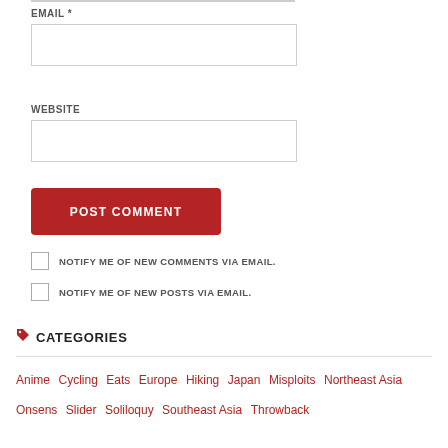EMAIL *
WEBSITE
POST COMMENT
NOTIFY ME OF NEW COMMENTS VIA EMAIL.
NOTIFY ME OF NEW POSTS VIA EMAIL.
CATEGORIES
Anime Cycling Eats Europe Hiking Japan Misploits Northeast Asia Onsens Slider Soliloquy Southeast Asia Throwback